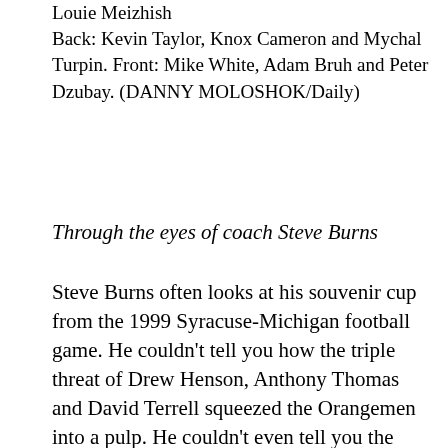Louie Meizhish
Back: Kevin Taylor, Knox Cameron and Mychal Turpin. Front: Mike White, Adam Bruh and Peter Dzubay. (DANNY MOLOSHOK/Daily)
Through the eyes of coach Steve Burns
Steve Burns often looks at his souvenir cup from the 1999 Syracuse-Michigan football game. He couldn't tell you how the triple threat of Drew Henson, Anthony Thomas and David Terrell squeezed the Orangemen into a pulp. He couldn't even tell you the score of the game. The details of the event have disappeared from his mind.